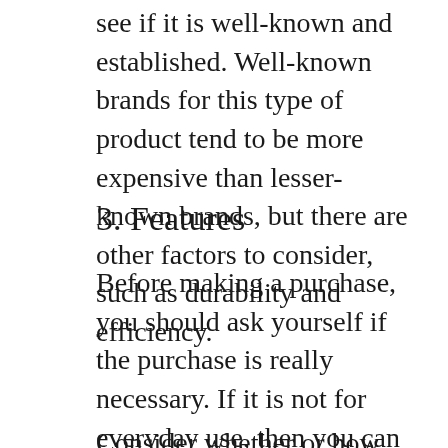see if it is well-known and established. Well-known brands for this type of product tend to be more expensive than lesser-known brands, but there are other factors to consider, such as durability and efficiency.
3. Features
Before making a purchase, you should ask yourself if the purchase is really necessary. If it is not for everyday use, then you can save more money by choosing an alternate option that will suit your budget better.
Consider whether or how often an item